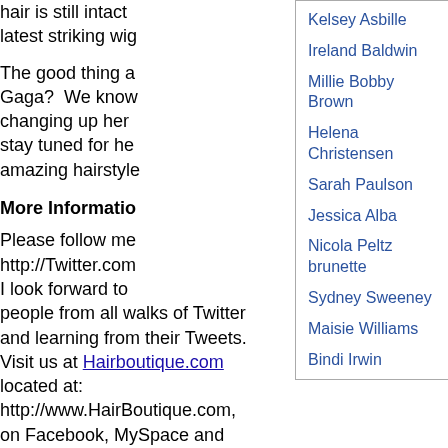hair is still intact latest striking wig
The good thing a Gaga? We know changing up her stay tuned for he amazing hairstyle
More Information
Please follow me http://Twitter.com I look forward to people from all walks of Twitter and learning from their Tweets. Visit us at Hairboutique.com located at: http://www.HairBoutique.com, on Facebook, MySpace and
Kelsey Asbille
Ireland Baldwin
Millie Bobby Brown
Helena Christensen
Sarah Paulson
Jessica Alba
Nicola Peltz brunette
Sydney Sweeney
Maisie Williams
Bindi Irwin